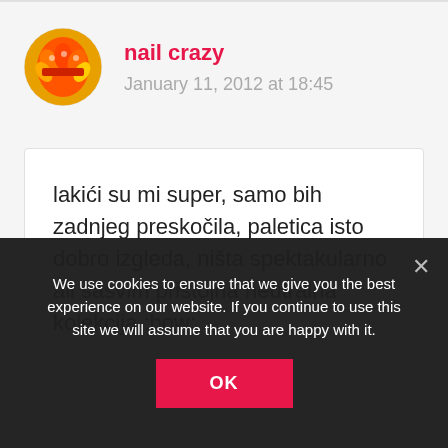nail crazy
January 11, 2012 at 18:45
lakići su mi super, samo bih zadnjeg preskočila, paletica isto dobro izgleda, ništa spektakularno ali sasvim pristojna neutralna kolekcija :bow:
We use cookies to ensure that we give you the best experience on our website. If you continue to use this site we will assume that you are happy with it.
OK